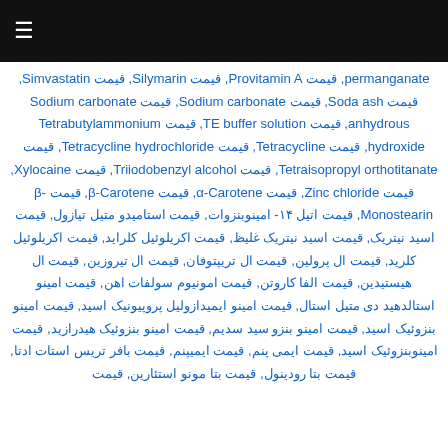≡
permanganate, قیمت Provitamin A, قیمت Silymarin, قیمت Simvastatin, قیمت Soda ash, قیمت Sodium carbonate, قیمت Sodium carbonate anhydrous, قیمت TE buffer solution, قیمت Tetrabutylammonium hydroxide, قیمت Tetracycline, قیمت Tetracycline hydrochloride, قیمت Tetraisopropyl orthotitanate, قیمت Triiodobenzyl alcohol, قیمت Xylocaine, قیمت Zinc chloride, قیمت α-Carotene, قیمت β-Carotene, قیمت β-Monostearin, قیمت اتیل ۱۴- امینوبنزوات, قیمت استامیدو متیل تیازول, قیمت اسید نیتریک, قیمت اسید نیتریک غلیظ, قیمت اکریلوئیل کلراید, قیمت اکریلوئیل کلرید, قیمت ال پرولین, قیمت ال تریپتوفان, قیمت ال تیروزین, قیمت ال هیستیدین, قیمت الفا کاروتن, قیمت امونیوم سولفات اهن, قیمت امینو استالدهید دی متیل استال, قیمت امینو ایمیدازولیل پروپیونیک اسید, قیمت امینو بنزوئیک اسید, قیمت امینو بنزوئیک اسید سدیم, قیمت امینو بنزوئیک هیدرازید, قیمت امینوبنزوئیک اسید, قیمت ایمی پنم, قیمت ایمیپنم, قیمت بافر تریس استات ادتا, قیمت بتا رودینول, قیمت بتا مونو استئارین, قیمت